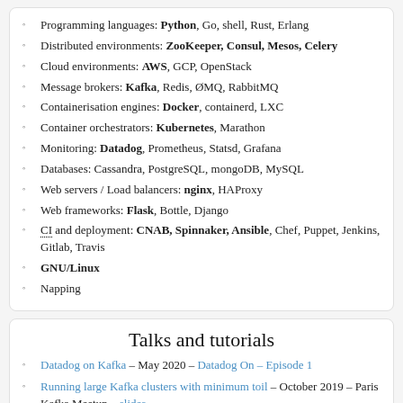Programming languages: Python, Go, shell, Rust, Erlang
Distributed environments: ZooKeeper, Consul, Mesos, Celery
Cloud environments: AWS, GCP, OpenStack
Message brokers: Kafka, Redis, ØMQ, RabbitMQ
Containerisation engines: Docker, containerd, LXC
Container orchestrators: Kubernetes, Marathon
Monitoring: Datadog, Prometheus, Statsd, Grafana
Databases: Cassandra, PostgreSQL, mongoDB, MySQL
Web servers / Load balancers: nginx, HAProxy
Web frameworks: Flask, Bottle, Django
CI and deployment: CNAB, Spinnaker, Ansible, Chef, Puppet, Jenkins, Gitlab, Travis
GNU/Linux
Napping
Talks and tutorials
Datadog on Kafka – May 2020 – Datadog On – Episode 1
Running large Kafka clusters with minimum toil – October 2019 – Paris Kafka Meetup – slides
...